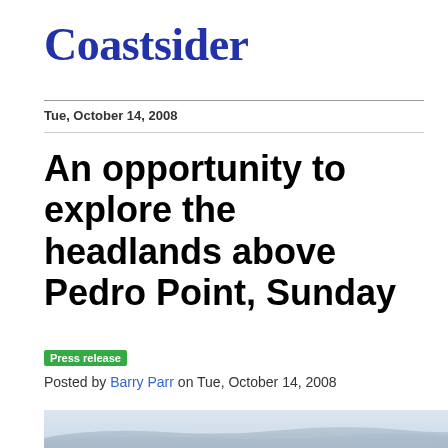Coastsider
Tue, October 14, 2008
An opportunity to explore the headlands above Pedro Point, Sunday
Press release
Posted by Barry Parr on Tue, October 14, 2008
[Figure (photo): Aerial or landscape photo showing coastal headlands above Pedro Point, with misty/foggy conditions over the ocean and hills]